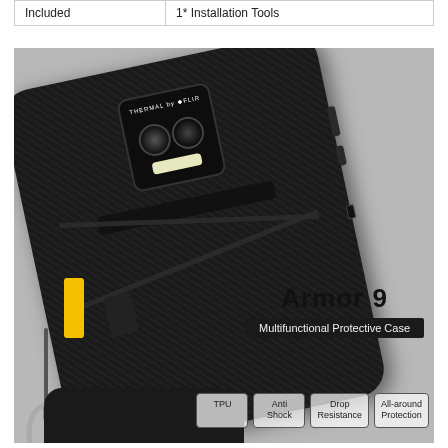|  |  |
| --- | --- |
| Included | 1* Installation Tools |
[Figure (photo): Product photo of the Armor 9 Multifunctional Protective Case for a smartphone. The case is black with textured rubber grip, a yellow strap connector with carabiner, FLIR thermal camera module visible on the back. Overlaid text reads 'Armor 9' and 'Multifunctional Protective Case' with feature badges: TPU, Anti Shock, Drop Resistance, All-around Protection.]